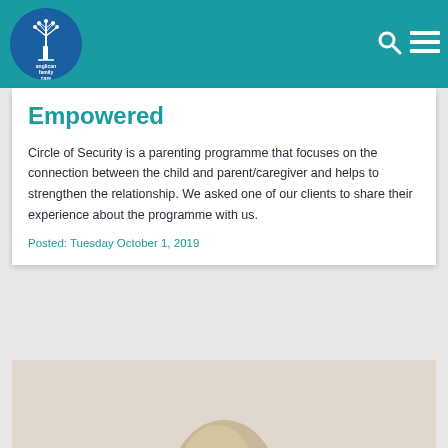Anglican Family Care — website header with logo and navigation icons
Empowered
Circle of Security is a parenting programme that focuses on the connection between the child and parent/caregiver and helps to strengthen the relationship. We asked one of our clients to share their experience about the programme with us.
Posted: Tuesday October 1, 2019
[Figure (photo): Photo of a person (appears to be a child or young person with light hair), cropped at bottom of page showing head/hair area against a neutral background.]